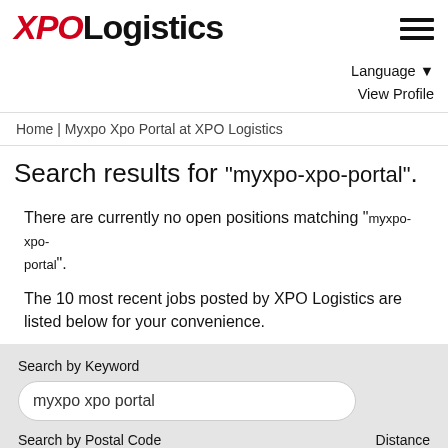XPO Logistics
Language ▾
View Profile
Home | Myxpo Xpo Portal at XPO Logistics
Search results for "myxpo-xpo-portal".
There are currently no open positions matching "myxpo-xpo-portal".
The 10 most recent jobs posted by XPO Logistics are listed below for your convenience.
Search by Keyword
myxpo xpo portal
Search by Postal Code
Distance